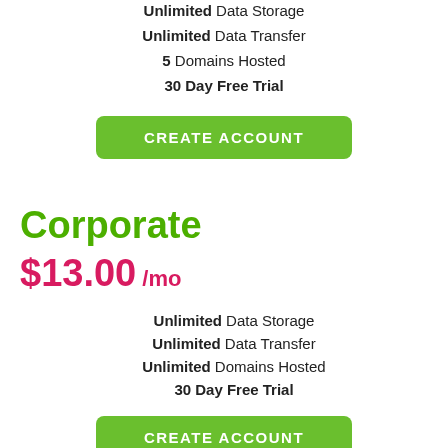Unlimited Data Storage
Unlimited Data Transfer
5 Domains Hosted
30 Day Free Trial
[Figure (other): Green CREATE ACCOUNT button]
Corporate
$13.00 /mo
Unlimited Data Storage
Unlimited Data Transfer
Unlimited Domains Hosted
30 Day Free Trial
[Figure (other): Green CREATE ACCOUNT button]